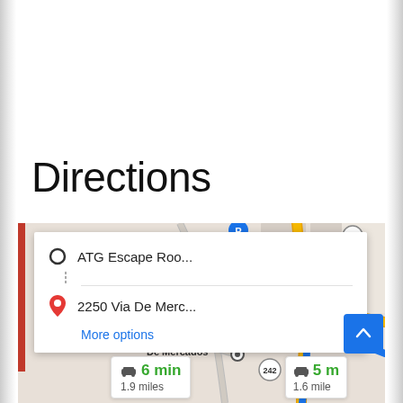Directions
[Figure (map): Google Maps screenshot showing directions from ATG Escape Roo... to 2250 Via De Merc..., with a route along Concord Ave. Map shows Mt Diablo High School area, a Casino, De Mercados, route 242, with a 6 min / 1.9 miles ETA and 5 min / 1.6 miles alternative. A directions popup card shows origin and destination with a 'More options' link.]